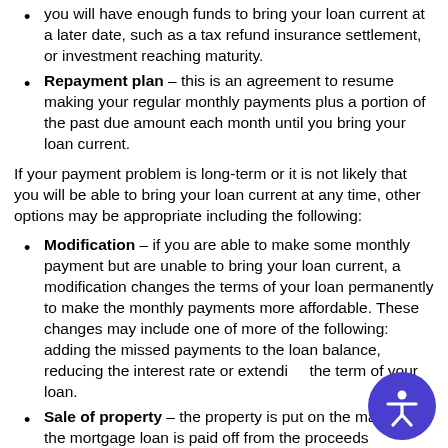you will have enough funds to bring your loan current at a later date, such as a tax refund insurance settlement, or investment reaching maturity.
Repayment plan – this is an agreement to resume making your regular monthly payments plus a portion of the past due amount each month until you bring your loan current.
If your payment problem is long-term or it is not likely that you will be able to bring your loan current at any time, other options may be appropriate including the following:
Modification – if you are able to make some monthly payment but are unable to bring your loan current, a modification changes the terms of your loan permanently to make the monthly payments more affordable. These changes may include one of more of the following: adding the missed payments to the loan balance, reducing the interest rate or extending the term of your loan.
Sale of property – the property is put on the market and the mortgage loan is paid off from the proceeds